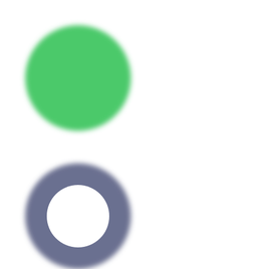[Figure (illustration): A filled green circle (solid, medium green color) positioned in the upper-left quadrant of the page.]
[Figure (illustration): A gray ring (donut/annulus shape, dark gray-blue color) positioned in the lower-left quadrant of the page.]